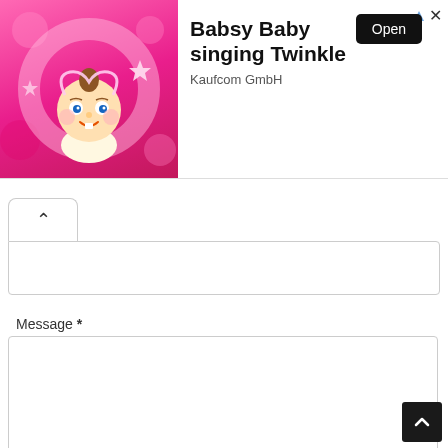[Figure (illustration): Advertisement banner for Babsy Baby singing Twinkle app by Kaufcom GmbH, featuring an animated baby character on a pink sparkly background with an Open button]
Babsy Baby singing Twinkle
Kaufcom GmbH
Message *
SEND
[Figure (screenshot): Scroll to top button (dark square with upward chevron arrow) in bottom right corner]